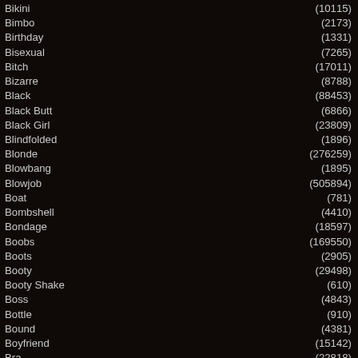| Category | Count |
| --- | --- |
| Bikini | (10115) |
| Bimbo | (2173) |
| Birthday | (1331) |
| Bisexual | (7265) |
| Bitch | (17011) |
| Bizarre | (8788) |
| Black | (88453) |
| Black Butt | (6866) |
| Black Girl | (23809) |
| Blindfolded | (1896) |
| Blonde | (276259) |
| Blowbang | (1895) |
| Blowjob | (505894) |
| Boat | (781) |
| Bombshell | (4410) |
| Bondage | (18597) |
| Boobs | (169550) |
| Boots | (2905) |
| Booty | (29498) |
| Booty Shake | (610) |
| Boss | (4843) |
| Bottle | (910) |
| Bound | (4381) |
| Boyfriend | (15142) |
| Bra | (22818) |
| Brazilian | (5552) |
| Breasts | (15657) |
| Bride | (931) |
| British | (13848) |
| Brunette | (356048) |
| Brutal | (4119) |
| Bukkake | (9311) |